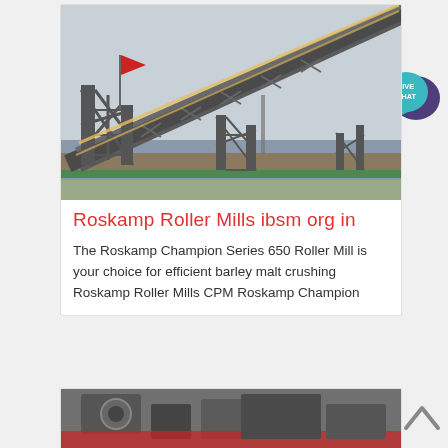[Figure (photo): Industrial conveyor belt structure over a river, metal truss frame, overcast sky, red flag visible, green fence at water level]
Roskamp Roller Mills ibsm org in
The Roskamp Champion Series 650 Roller Mill is your choice for efficient barley malt crushing Roskamp Roller Mills CPM Roskamp Champion
[Figure (photo): Industrial machinery/crusher equipment, partially visible at bottom of page]